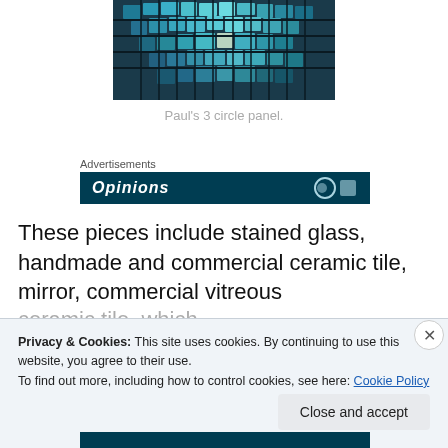[Figure (photo): Close-up of a circular mosaic panel made of blue, teal, and green glass tiles arranged in a radial pattern]
Paul's 3 circle panel.
Advertisements
[Figure (screenshot): Dark teal advertisement banner with italic text 'Opinions' and partial circular logo]
These pieces include stained glass, handmade and commercial ceramic tile, mirror, commercial vitreous
Privacy & Cookies: This site uses cookies. By continuing to use this website, you agree to their use.
To find out more, including how to control cookies, see here: Cookie Policy
Close and accept